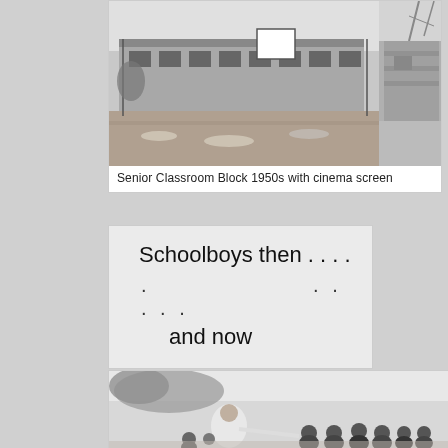[Figure (photo): Black and white photograph of a Senior Classroom Block from the 1950s showing a long low building with a cinema screen visible in the courtyard area]
Senior Classroom Block 1950s with cinema screen
Schoolboys then . . . .
. . . . .
and now
[Figure (photo): Black and white photograph of schoolboys, showing students in white shirts with others in darker clothing, appears to be an outdoor gathering or activity]